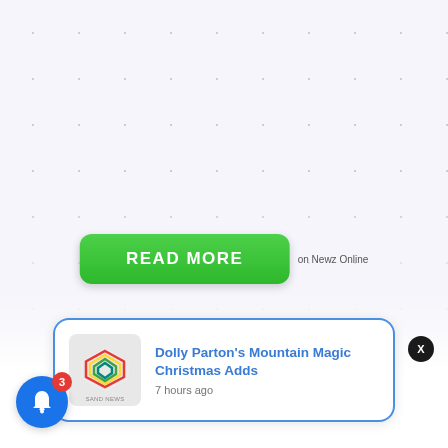[Figure (screenshot): Decorative dot grid background pattern in light blue/lavender on white/light gray background]
[Figure (other): Green READ MORE button with text 'READ MORE' and label 'on Newz Online' to its right]
[Figure (other): Notification card with blue border showing a logo thumbnail (SAND NEWS), title 'Dolly Parton's Mountain Magic Christmas Adds', and timestamp '7 hours ago'. An X close button is at top right of card. A blue bell icon with red badge showing '3' is at bottom left.]